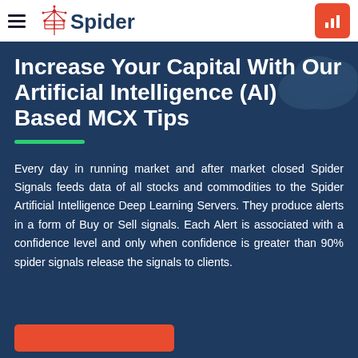Spider Signals
Increase Your Capital With Our Artificial Intelligence (AI) Based MCX Tips
Every day in running market and after market closed Spider Signals feeds data of all stocks and commodities to the Spider Artificial Intelligence Deep Learning Servers. They produce alerts in a form of Buy or Sell signals. Each Alert is associated with a confidence level and only when confidence is greater than 90% spider signals release the signals to clients.